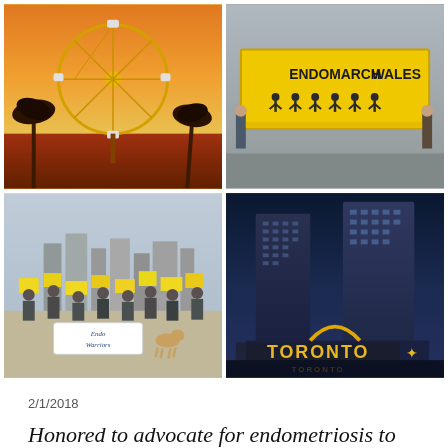[Figure (photo): Ferris wheel at sunset with palm trees, warm orange and golden sky]
[Figure (photo): People holding yellow ENDOMARCH WALES banner outdoors]
[Figure (photo): Large group of endometriosis advocates holding yellow signs outdoors in a city, with a dog, banner reading Endo Warriors]
[Figure (photo): Toronto city hall and skyline at night with illuminated TORONTO sign]
2/1/2018
Honored to advocate for endometriosis to be included in policy at for the 2018 UN NCD Meeting. The NCD Alliance